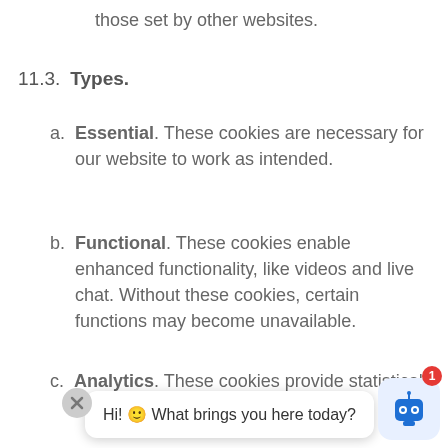those set by other websites.
11.3.  Types.
a. Essential. These cookies are necessary for our website to work as intended.
b. Functional. These cookies enable enhanced functionality, like videos and live chat. Without these cookies, certain functions may become unavailable.
c. Analytics. These cookies provide statistical information on site usage.